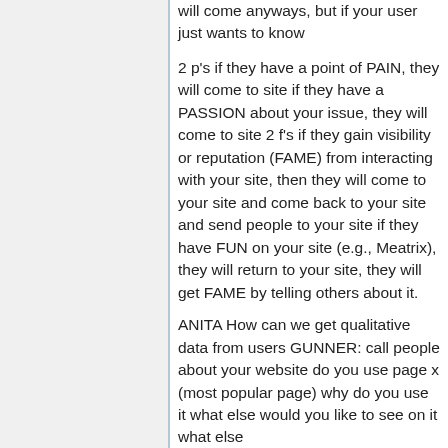will come anyways, but if your user just wants to know
2 p's if they have a point of PAIN, they will come to site if they have a PASSION about your issue, they will come to site 2 f's if they gain visibility or reputation (FAME) from interacting with your site, then they will come to your site and come back to your site and send people to your site if they have FUN on your site (e.g., Meatrix), they will return to your site, they will get FAME by telling others about it.
ANITA How can we get qualitative data from users GUNNER: call people about your website do you use page x (most popular page) why do you use it what else would you like to see on it what else